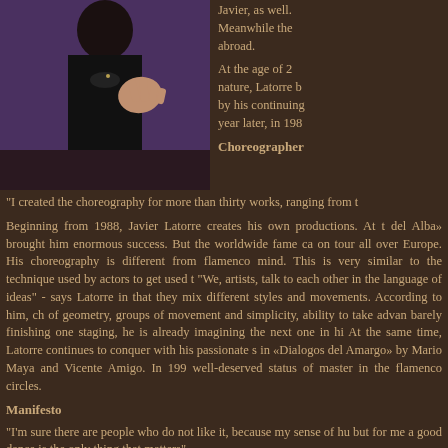[Figure (photo): A performer in a black shirt with hand raised to chest, purple stage background]
Javier, as well. Meanwhile the abroad.
At the age of 2, nature, Latorre b by his continuing year later, in 198
Choreographer
"I created the choreography for more than thirty works, ranging from t
Beginning from 1988, Javier Latorre creates his own productions. At t del Alba» brought him enormous success. But the worldwide fame ca on tour all over Europe. His choreography is different from flamenco mind. This is very similar to the technique used by actors to get used t "We, artists, talk to each other in the language of ideas" - says Latorre in that they mix different styles and movements. According to him, ch of geometry, groups of movement and simplicity, ability to take advan barely finishing one staging, he is already imagining the next one in hi At the same time, Latorre continues to conquer with his passionate s in «Dialogos del Amargo» by Mario Maya and Vicente Amigo. In 199 well-deserved status of master in the flamenco circles.
Manifesto
"I'm sure there are people who do not like it, because my sense of hu but for me a good dance is the only thing that matters".